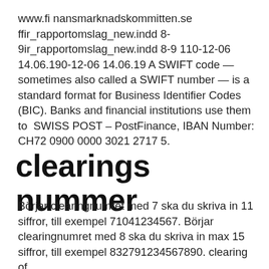www.fi nansmarknadskommitten.se ffir_rapportomslag_new.indd 8-9ir_rapportomslag_new.indd 8-9 110-12-06 14.06.190-12-06 14.06.19 A SWIFT code — sometimes also called a SWIFT number — is a standard format for Business Identifier Codes (BIC). Banks and financial institutions use them to  SWISS POST – PostFinance, IBAN Number: CH72 0900 0000 3021 2717 5.
clearings nummer
Börjar clearingnumret med 7 ska du skriva in 11 siffror, till exempel 71041234567. Börjar clearingnumret med 8 ska du skriva in max 15 siffror, till exempel 832791234567890. clearing of